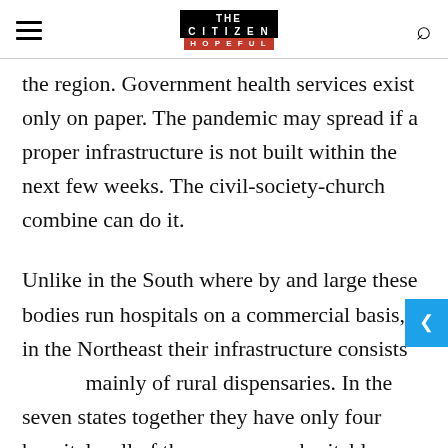THE CITIZEN IS HOPEFUL
the region. Government health services exist only on paper. The pandemic may spread if a proper infrastructure is not built within the next few weeks. The civil-society-church combine can do it.
Unlike in the South where by and large these bodies run hospitals on a commercial basis, in the Northeast their infrastructure consists mainly of rural dispensaries. In the seven states together they have only four hospitals, all of them run on a charitable basis. But their